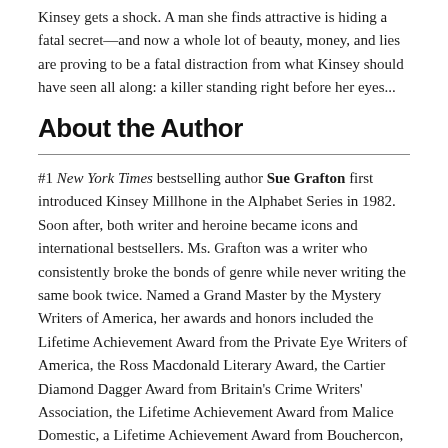Kinsey gets a shock. A man she finds attractive is hiding a fatal secret—and now a whole lot of beauty, money, and lies are proving to be a fatal distraction from what Kinsey should have seen all along: a killer standing right before her eyes...
About the Author
#1 New York Times bestselling author Sue Grafton first introduced Kinsey Millhone in the Alphabet Series in 1982. Soon after, both writer and heroine became icons and international bestsellers. Ms. Grafton was a writer who consistently broke the bonds of genre while never writing the same book twice. Named a Grand Master by the Mystery Writers of America, her awards and honors included the Lifetime Achievement Award from the Private Eye Writers of America, the Ross Macdonald Literary Award, the Cartier Diamond Dagger Award from Britain's Crime Writers' Association, the Lifetime Achievement Award from Malice Domestic, a Lifetime Achievement Award from Bouchercon, three Shamus Awards, and three Anthony Awards—including the first two ever awarded. She passed away in December 2017.
P...